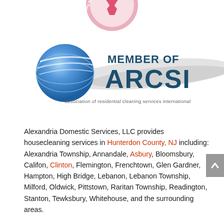[Figure (logo): Partial pink circular badge/logo at top with text 'Women With Ca...' visible]
[Figure (logo): ARCSI Member of logo: blue globe with swoosh and large text 'MEMBER OF ARCSI' with tagline 'association of residential cleaning services international']
Alexandria Domestic Services, LLC provides housecleaning services in Hunterdon County, NJ including: Alexandria Township, Annandale, Asbury, Bloomsbury, Califon, Clinton, Flemington, Frenchtown, Glen Gardner, Hampton, High Bridge, Lebanon, Lebanon Township, Milford, Oldwick, Pittstown, Raritan Township, Readington, Stanton, Tewksbury, Whitehouse, and the surrounding areas.